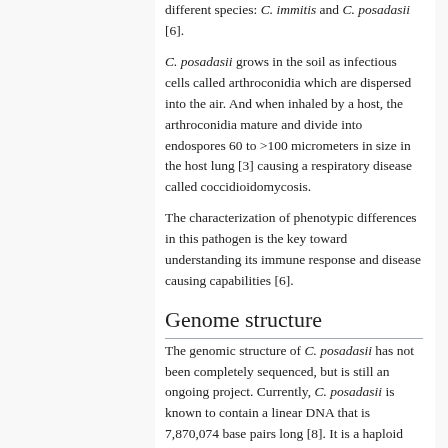different species: C. immitis and C. posadasii [6].
C. posadasii grows in the soil as infectious cells called arthroconidia which are dispersed into the air. And when inhaled by a host, the arthroconidia mature and divide into endospores 60 to >100 micrometers in size in the host lung [3] causing a respiratory disease called coccidioidomycosis.
The characterization of phenotypic differences in this pathogen is the key toward understanding its immune response and disease causing capabilities [6].
Genome structure
The genomic structure of C. posadasii has not been completely sequenced, but is still an ongoing project. Currently, C. posadasii is known to contain a linear DNA that is 7,870,074 base pairs long [8]. It is a haploid organism with a genome that is 29 Mb organized into 4 chromosomes [9].